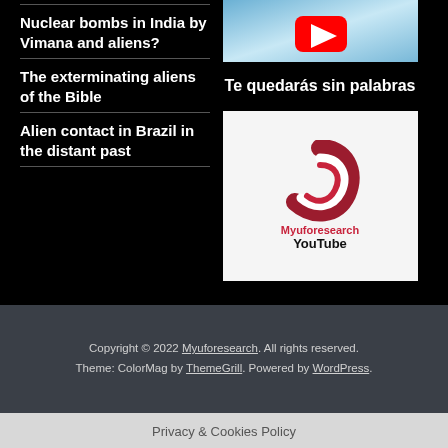Nuclear bombs in India by Vimana and aliens?
The exterminating aliens of the Bible
Alien contact in Brazil in the distant past
[Figure (screenshot): YouTube thumbnail with sky background and YouTube play button logo]
Te quedarás sin palabras
[Figure (logo): Myuforesearch YouTube logo — red circular swoosh logo with text 'Myuforesearch YouTube' below]
Copyright © 2022 Myuforesearch. All rights reserved. Theme: ColorMag by ThemeGrill. Powered by WordPress.
Privacy & Cookies Policy